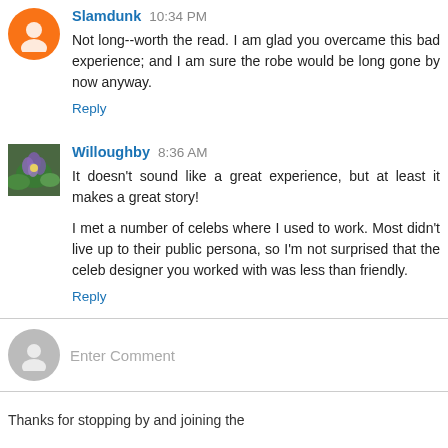Slamdunk 10:34 PM
Not long--worth the read. I am glad you overcame this bad experience; and I am sure the robe would be long gone by now anyway.
Reply
Willoughby 8:36 AM
It doesn't sound like a great experience, but at least it makes a great story!

I met a number of celebs where I used to work. Most didn't live up to their public persona, so I'm not surprised that the celeb designer you worked with was less than friendly.
Reply
Enter Comment
Thanks for stopping by and joining the